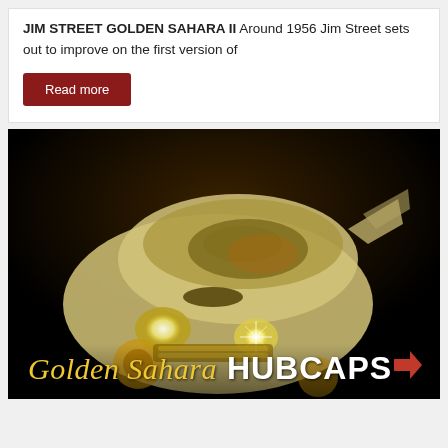JIM STREET GOLDEN SAHARA II  Around 1956 Jim Street sets out to improve on the first version of
Read more
[Figure (photo): A vintage golden concept/custom car photographed against a dark background. The car has a futuristic 1950s design with prominent headlights, a golden/cream body, and tail fins. Text overlay at the bottom reads 'Golden Sahara HUBCAPS' with a red arrow.]